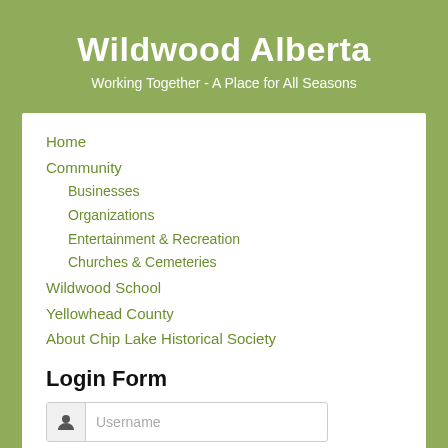Wildwood Alberta
Working Together - A Place for All Seasons
Home
Community
Businesses
Organizations
Entertainment & Recreation
Churches & Cemeteries
Wildwood School
Yellowhead County
About Chip Lake Historical Society
Login Form
Username
Password